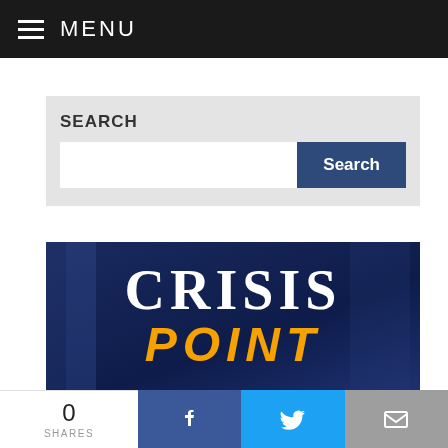MENU
SEARCH
[Figure (screenshot): Search input field with a dark blue Search button]
[Figure (logo): Crisis Point banner logo with white serif CRISIS text and orange italic POINT text on dark blue background]
0 SHARES
[Figure (infographic): Social sharing bar with Facebook, Twitter, and email icons]